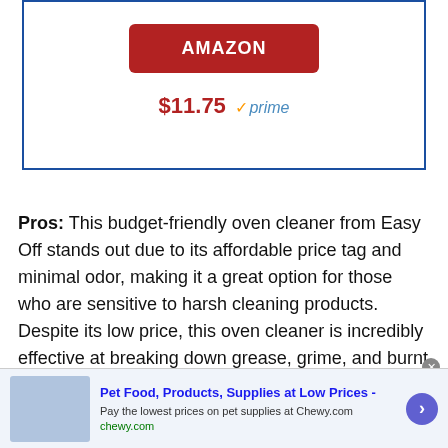[Figure (other): Amazon buy button (red rounded rectangle with white text 'AMAZON') inside a blue-bordered box, with price $11.75 and Amazon Prime badge below]
Pros: This budget-friendly oven cleaner from Easy Off stands out due to its affordable price tag and minimal odor, making it a great option for those who are sensitive to harsh cleaning products. Despite its low price, this oven cleaner is incredibly effective at breaking down grease, grime, and burnt food, especially if you let it sit
[Figure (other): Advertisement banner for Chewy.com: Pet Food, Products, Supplies at Low Prices - Pay the lowest prices on pet supplies at Chewy.com]